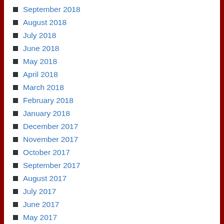September 2018
August 2018
July 2018
June 2018
May 2018
April 2018
March 2018
February 2018
January 2018
December 2017
November 2017
October 2017
September 2017
August 2017
July 2017
June 2017
May 2017
April 2017
March 2017
February 2017
January 2017
December 2016
November 2016
October 2016
September 2016